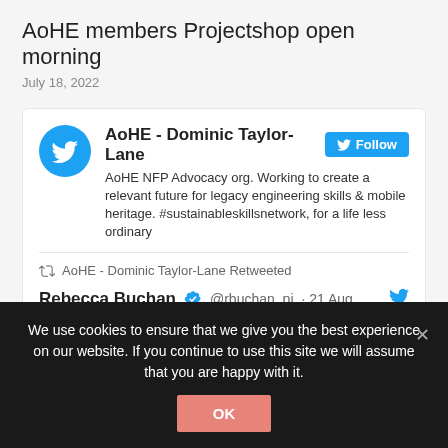AoHE members Projectshop open morning
July 18, 2022
[Figure (screenshot): Twitter profile card for AoHE - Dominic Taylor-Lane with Follow button and bio text: AoHE NFP Advocacy org. Working to create a relevant future for legacy engineering skills & mobile heritage. #sustainableskillsnetwork, for a life less ordinary]
AoHE - Dominic Taylor-Lane Retweeted
Rebecca Buchan @rbuchan_pj · 21 Aug
Hopes of turning empty Aberdeen John Lewis into Natural History Museum remain on the table
We use cookies to ensure that we give you the best experience on our website. If you continue to use this site we will assume that you are happy with it.